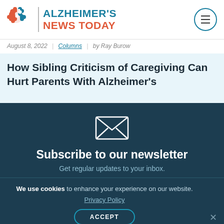[Figure (logo): Alzheimer's News Today logo with brain puzzle icon in red and teal, site name in two-tone teal and red text, and hamburger menu button in circle]
August 8, 2022 | Columns | by Ray Burow
How Sibling Criticism of Caregiving Can Hurt Parents With Alzheimer's
[Figure (illustration): Envelope/mail icon in white outline on dark teal background]
Subscribe to our newsletter
Get regular updates to your inbox.
We use cookies to enhance your experience on our website.
Privacy Policy
ACCEPT